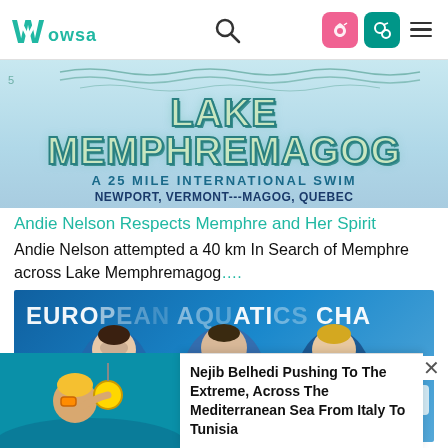WOWSA
[Figure (photo): Lake Memphremagog A 25 Mile International Swim Newport, Vermont---Magog, Quebec banner image with decorative wavy text]
Andie Nelson Respects Memphre and Her Spirit
Andie Nelson attempted a 40 km In Search of Memphre across Lake Memphremagog....
[Figure (photo): Three male swimmers posing with medals at European Aquatics Championships]
[Figure (photo): Swimmer in open water holding gold medal]
Nejib Belhedi Pushing To The Extreme, Across The Mediterranean Sea From Italy To Tunisia